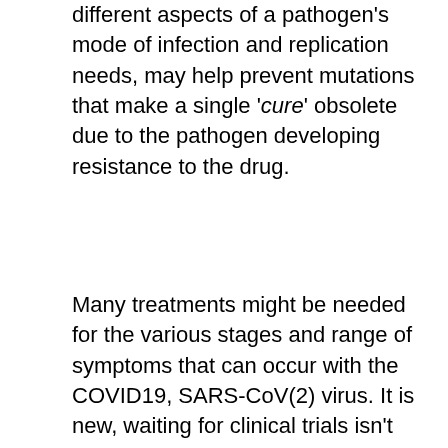longer. Also, using multiple treatments, that target different aspects of a pathogen's mode of infection and replication needs, may help prevent mutations that make a single 'cure' obsolete due to the pathogen developing resistance to the drug.
Many treatments might be needed for the various stages and range of symptoms that can occur with the COVID19, SARS-CoV(2) virus. It is new, waiting for clinical trials isn't very helpful for people who are already sick. Citrus peel is readily available in fresh fruit or in Middle Eastern groceries as whole dried limes or powdered dried lemon or lime, and in the Traditional Chinese Medicinal Chen Pi. The whole peel includes the more bitter and potent outer part of the peel. One to two teaspoons is a more typical dose of the TCM Chen Pi and it would be used with a few others. The TCM guidance for COVID19 included licorice and astragalus which I also use daily as a supplement.